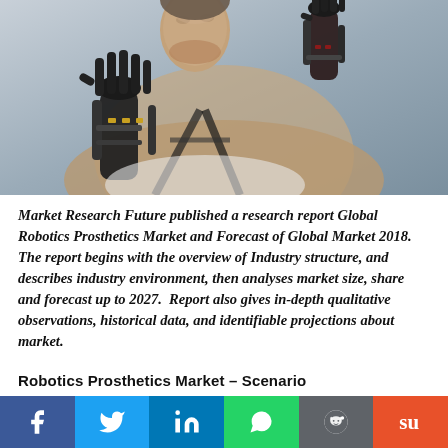[Figure (photo): A man with two robotic prosthetic arms looking upward; the mechanical hands are visible on both sides of the frame against a blurred background.]
Market Research Future published a research report Global Robotics Prosthetics Market and Forecast of Global Market 2018. The report begins with the overview of Industry structure, and describes industry environment, then analyses market size, share and forecast up to 2027. Report also gives in-depth qualitative observations, historical data, and identifiable projections about market.
Robotics Prosthetics Market – Scenario